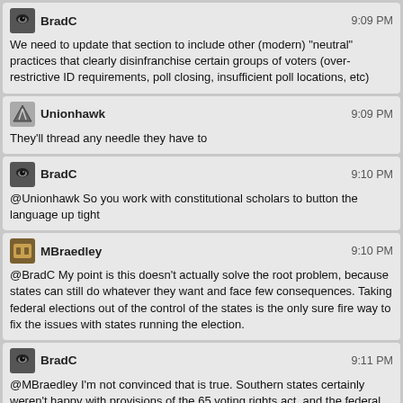BradC 9:09 PM
We need to update that section to include other (modern) "neutral" practices that clearly disinfranchise certain groups of voters (over-restrictive ID requirements, poll closing, insufficient poll locations, etc)
Unionhawk 9:09 PM
They'll thread any needle they have to
BradC 9:10 PM
@Unionhawk So you work with constitutional scholars to button the language up tight
MBraedley 9:10 PM
@BradC My point is this doesn't actually solve the root problem, because states can still do whatever they want and face few consequences. Taking federal elections out of the control of the states is the only sure fire way to fix the issues with states running the election.
BradC 9:11 PM
@MBraedley I'm not convinced that is true. Southern states certainly weren't happy with provisions of the 65 voting rights act, and the federal government certainly enforced it where they had to.

And does that mean the federal government running state and local elections as well? Or do you have two parallel systems?

Step 1 (easy): update the language of the section struck down by the supreme court so that ALL states have to get voting changes pre-approved by the DOJ
MBraedley 9:14 PM
@BradC I'm fine with parallel systems. That's largely how it's done elsewhere. (There's some peculiarities WRT municipal elections in most parts of Canada, where they're largely run by the provinces, but that's a different matter.)